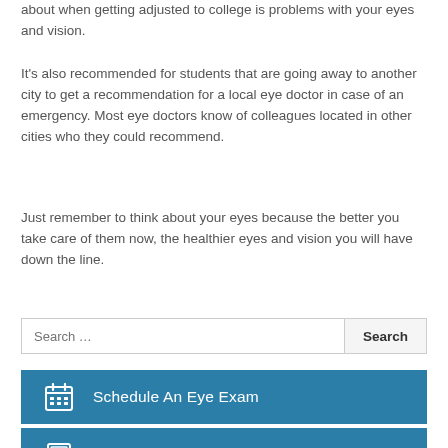about when getting adjusted to college is problems with your eyes and vision.
It's also recommended for students that are going away to another city to get a recommendation for a local eye doctor in case of an emergency. Most eye doctors know of colleagues located in other cities who they could recommend.
Just remember to think about your eyes because the better you take care of them now, the healthier eyes and vision you will have down the line.
Search …
Schedule An Eye Exam
Patient History Form